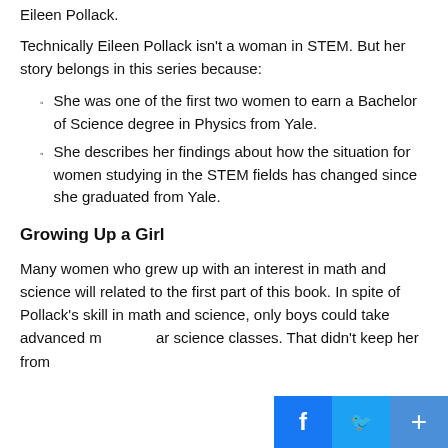Eileen Pollack.
Technically Eileen Pollack isn't a woman in STEM. But her story belongs in this series because:
She was one of the first two women to earn a Bachelor of Science degree in Physics from Yale.
She describes her findings about how the situation for women studying in the STEM fields has changed since she graduated from Yale.
Growing Up a Girl
Many women who grew up with an interest in math and science will related to the first part of this book. In spite of Pollack's skill in math and science, only boys could take advanced math and science classes. That didn't keep her from